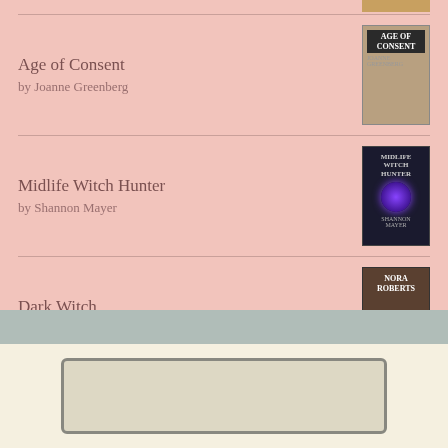Age of Consent by Joanne Greenberg
Midlife Witch Hunter by Shannon Mayer
Dark Witch by Nora Roberts
[Figure (logo): goodreads logo in white rounded rectangle box]
[Figure (photo): Partial view of a weathered sign, bottom section of page with grayish-tan background]